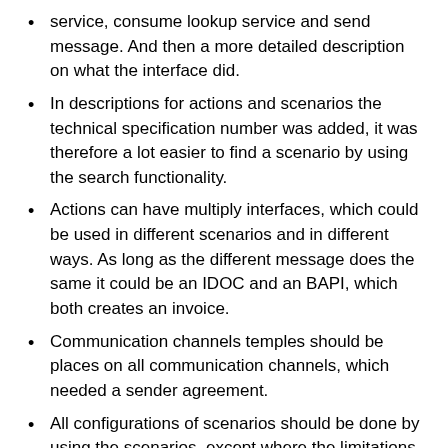service, consume lookup service and send message. And then a more detailed description on what the interface did.
In descriptions for actions and scenarios the technical specification number was added, it was therefore a lot easier to find a scenario by using the search functionality.
Actions can have multiply interfaces, which could be used in different scenarios and in different ways. As long as the different message does the same it could be an IDOC and an BAPI, which both creates an invoice.
Communication channels temples should be places on all communication channels, which needed a sender agreement.
All configurations of scenarios should be done by using the scenarios, except where the limitations are as described below. This mean that it is easy to reconfigure all interfaces in a PI system, simply delete all configuration objects, except communication channels